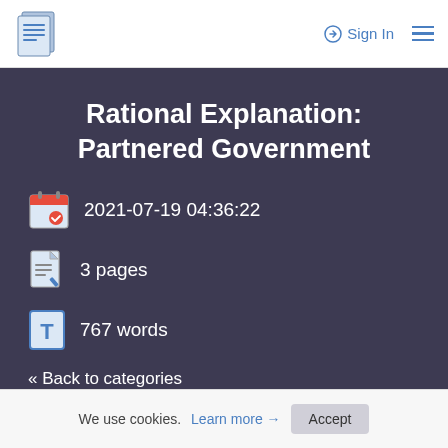Sign In
Rational Explanation: Partnered Government
2021-07-19 04:36:22
3 pages
767 words
« Back to categories
We use cookies. Learn more → Accept